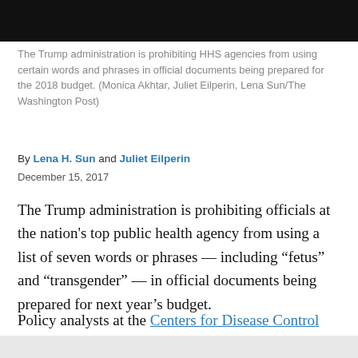The Trump administration is prohibiting HHS agencies from using certain words and phrases in official documents being prepared for the 2018 budget. (Monica Akhtar, Juliet Eilperin, Lena Sun/The Washington Post)
By Lena H. Sun and Juliet Eilperin
December 15, 2017
The Trump administration is prohibiting officials at the nation's top public health agency from using a list of seven words or phrases — including “fetus” and “transgender” — in official documents being prepared for next year’s budget.
Policy analysts at the Centers for Disease Control and Prevention in Atlanta were told of the list of forbidden